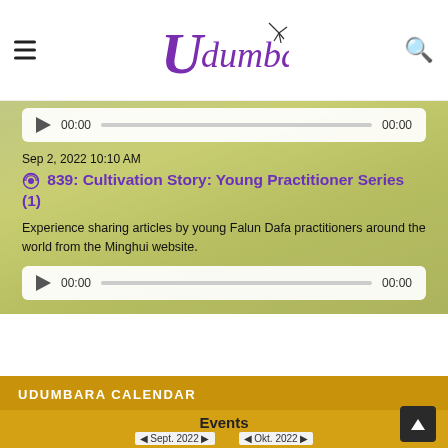Udumbara
[Figure (screenshot): Audio player widget showing play button, 00:00 timestamp, progress bar, and 00:00 end time]
Sep 2, 2022 10:10 AM
839: Cultivation Story: Young Practitioner Series (1)
Experience sharing articles by young Falun Dafa practitioners around the world from the Minghui website.
[Figure (screenshot): Audio player widget showing play button, 00:00 timestamp, progress bar, and 00:00 end time]
UDUMBARA CALENDAR
Events
Sept. 2022   Okt. 2022